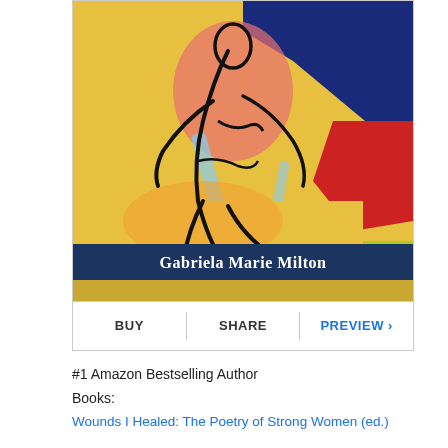[Figure (illustration): Book cover for Gabriela Marie Milton featuring an expressionist painting of a seated nude figure in vivid colors (blue, red, yellow, orange, black outlines) with a dark navy banner at the bottom showing the author name 'Gabriela Marie Milton' in white serif text.]
BUY   SHARE   PREVIEW ›
#1 Amazon Bestselling Author
Books:
Wounds I Healed: The Poetry of Strong Women (ed.)